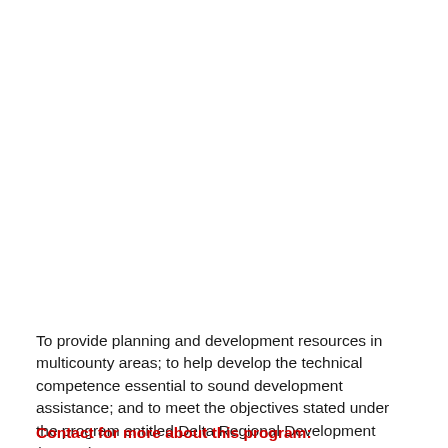To provide planning and development resources in multicounty areas; to help develop the technical competence essential to sound development assistance; and to meet the objectives stated under the program entitled Delta Regional Development (90.200).
Contact for more about this program: